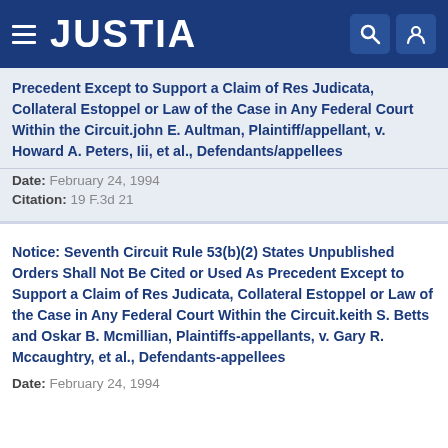JUSTIA
Precedent Except to Support a Claim of Res Judicata, Collateral Estoppel or Law of the Case in Any Federal Court Within the Circuit.john E. Aultman, Plaintiff/appellant, v. Howard A. Peters, Iii, et al., Defendants/appellees
Date: February 24, 1994
Citation: 19 F.3d 21
Notice: Seventh Circuit Rule 53(b)(2) States Unpublished Orders Shall Not Be Cited or Used As Precedent Except to Support a Claim of Res Judicata, Collateral Estoppel or Law of the Case in Any Federal Court Within the Circuit.keith S. Betts and Oskar B. Mcmillian, Plaintiffs-appellants, v. Gary R. Mccaughtry, et al., Defendants-appellees
Date: February 24, 1994